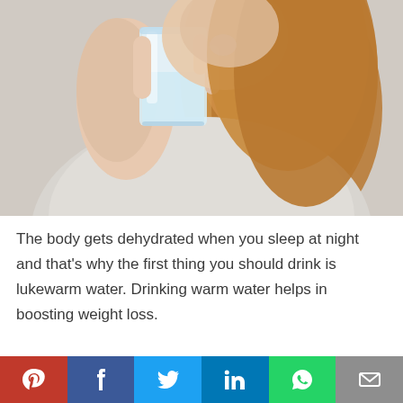[Figure (photo): A woman with long blonde hair drinking from a glass of water, wearing a light grey shirt, close-up shot with soft background]
The body gets dehydrated when you sleep at night and that's why the first thing you should drink is lukewarm water. Drinking warm water helps in boosting weight loss.
[Figure (infographic): Social sharing bar with Pinterest, Facebook, Twitter, LinkedIn, WhatsApp, and Email buttons in their respective brand colors]